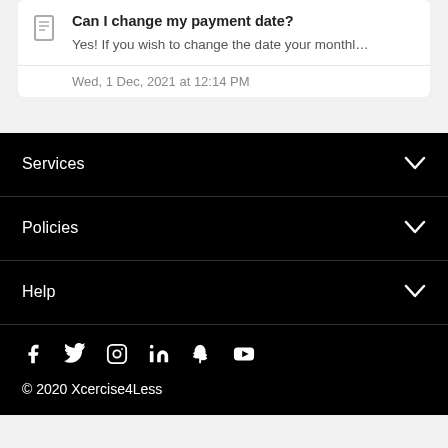Can I change my payment date?
Yes! If you wish to change the date your monthly direct debit i...
Wed, 1 Dec, 2021 at 12:14 PM
Services
Policies
Help
[Figure (other): Social media icons: Facebook, Twitter, Instagram, LinkedIn, Snapchat, YouTube]
© 2020 Xcercise4Less